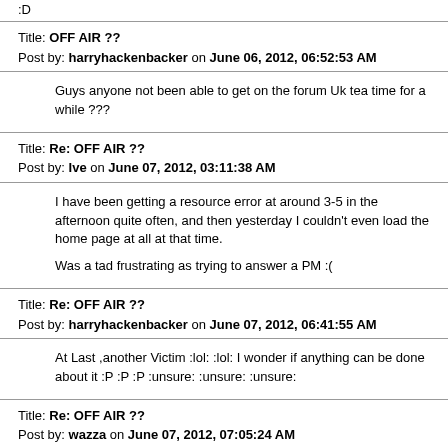:D
Title: OFF AIR ??
Post by: harryhackenbacker on June 06, 2012, 06:52:53 AM
Guys anyone not been able to get on the forum Uk tea time for a while ???
Title: Re: OFF AIR ??
Post by: Ive on June 07, 2012, 03:11:38 AM
I have been getting a resource error at around 3-5 in the afternoon quite often, and then yesterday I couldn't even load the home page at all at that time.

Was a tad frustrating as trying to answer a PM :(
Title: Re: OFF AIR ??
Post by: harryhackenbacker on June 07, 2012, 06:41:55 AM
At Last ,another Victim  :lol: :lol: I wonder if anything can be done about it  :P :P :P :unsure: :unsure: :unsure:
Title: Re: OFF AIR ??
Post by: wazza on June 07, 2012, 07:05:24 AM